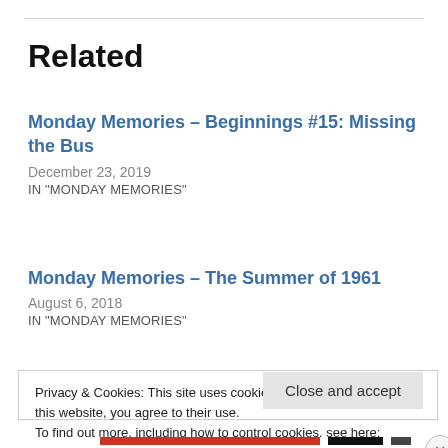Related
Monday Memories – Beginnings #15: Missing the Bus
December 23, 2019
IN "MONDAY MEMORIES"
Monday Memories – The Summer of 1961
August 6, 2018
IN "MONDAY MEMORIES"
Privacy & Cookies: This site uses cookies. By continuing to use this website, you agree to their use.
To find out more, including how to control cookies, see here:
Cookie Policy
Close and accept